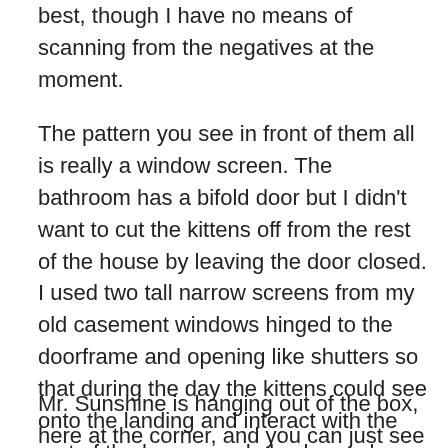best, though I have no means of scanning from the negatives at the moment.
The pattern you see in front of them all is really a window screen. The bathroom has a bifold door but I didn't want to cut the kittens off from the rest of the house by leaving the door closed. I used two tall narrow screens from my old casement windows hinged to the doorframe and opening like shutters so that during the day the kittens could see onto the landing and interact with the rest of the house, and also be cooler since it was August and September. Mimi could easily jump the screens to get in and out so she had her breaks too.
Mr. Sunshine is hanging out of the box, here at the corner, and you can just see a light spot on his year which is his yellow paint. Giuseppe is behind him with a tiny bit of